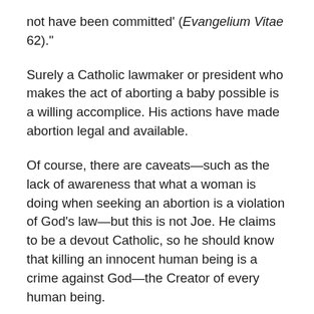not have been committed' (Evangelium Vitae 62)."
Surely a Catholic lawmaker or president who makes the act of aborting a baby possible is a willing accomplice. His actions have made abortion legal and available.
Of course, there are caveats—such as the lack of awareness that what a woman is doing when seeking an abortion is a violation of God's law—but this is not Joe. He claims to be a devout Catholic, so he should know that killing an innocent human being is a crime against God—the Creator of every human being.
This may not be the case when a woman chooses to kill her baby and is unaware that what she is doing is agreeing to the murder of an innocent person.